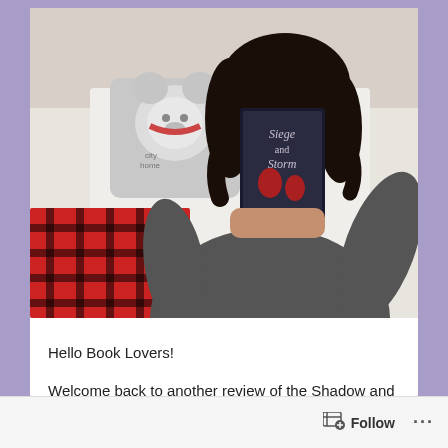[Figure (photo): A young woman with curly dark hair and glasses, wearing a dark gray long-sleeve shirt, sitting on a bed and holding up a book titled 'Siege and Storm'. Behind her is a decorative pillow with a polar bear illustration and a red and black plaid blanket/cloth in the foreground.]
Hello Book Lovers!
Welcome back to another review of the Shadow and bone series. Today I'm discussing Siege and Storm otherwise known as book 2.
Follow ...